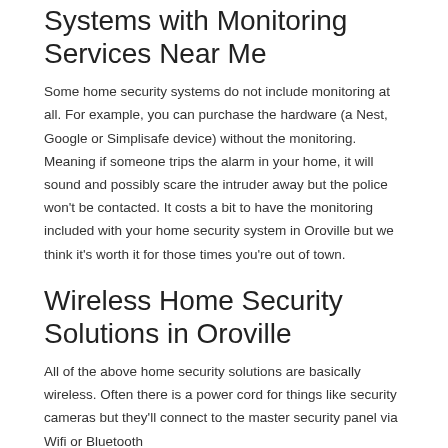Systems with Monitoring Services Near Me
Some home security systems do not include monitoring at all. For example, you can purchase the hardware (a Nest, Google or Simplisafe device) without the monitoring. Meaning if someone trips the alarm in your home, it will sound and possibly scare the intruder away but the police won't be contacted. It costs a bit to have the monitoring included with your home security system in Oroville but we think it's worth it for those times you're out of town.
Wireless Home Security Solutions in Oroville
All of the above home security solutions are basically wireless. Often there is a power cord for things like security cameras but they'll connect to the master security panel via Wifi or Bluetooth